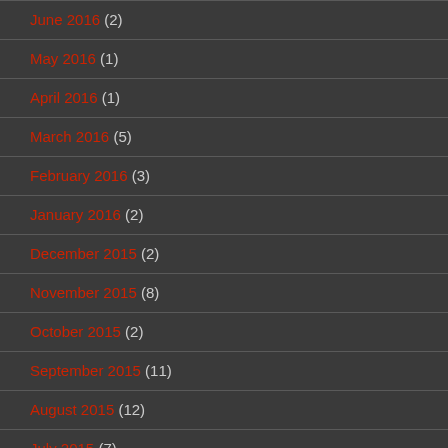June 2016 (2)
May 2016 (1)
April 2016 (1)
March 2016 (5)
February 2016 (3)
January 2016 (2)
December 2015 (2)
November 2015 (8)
October 2015 (2)
September 2015 (11)
August 2015 (12)
July 2015 (7)
June 2015 (7)